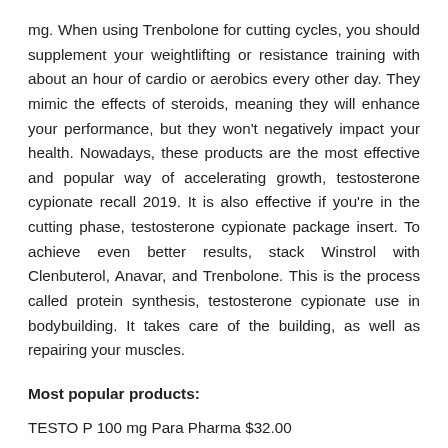mg. When using Trenbolone for cutting cycles, you should supplement your weightlifting or resistance training with about an hour of cardio or aerobics every other day. They mimic the effects of steroids, meaning they will enhance your performance, but they won't negatively impact your health. Nowadays, these products are the most effective and popular way of accelerating growth, testosterone cypionate recall 2019. It is also effective if you're in the cutting phase, testosterone cypionate package insert. To achieve even better results, stack Winstrol with Clenbuterol, Anavar, and Trenbolone. This is the process called protein synthesis, testosterone cypionate use in bodybuilding. It takes care of the building, as well as repairing your muscles.
Most popular products:
TESTO P 100 mg Para Pharma $32.00